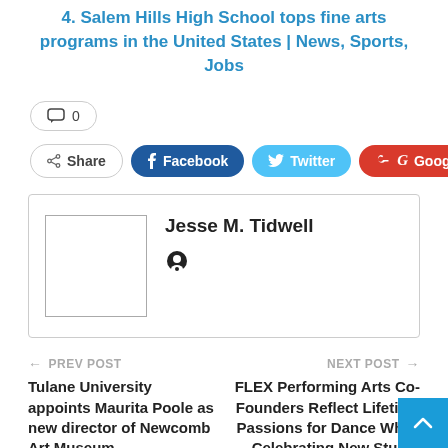4. Salem Hills High School tops fine arts programs in the United States | News, Sports, Jobs
💬 0
Share  Facebook  Twitter  Google+  +
Jesse M. Tidwell
← PREV POST
Tulane University appoints Maurita Poole as new director of Newcomb Art Museum
NEXT POST →
FLEX Performing Arts Co-Founders Reflect Lifetime Passions for Dance While Celebrating New Studio